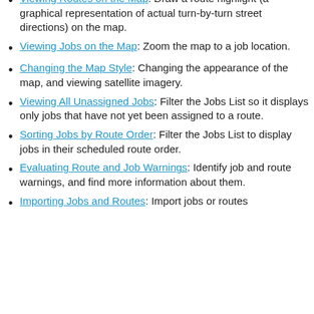Viewing Routes on the Map: Draw a route highlight (a graphical representation of actual turn-by-turn street directions) on the map.
Viewing Jobs on the Map: Zoom the map to a job location.
Changing the Map Style: Changing the appearance of the map, and viewing satellite imagery.
Viewing All Unassigned Jobs: Filter the Jobs List so it displays only jobs that have not yet been assigned to a route.
Sorting Jobs by Route Order: Filter the Jobs List to display jobs in their scheduled route order.
Evaluating Route and Job Warnings: Identify job and route warnings, and find more information about them.
Importing Jobs and Routes: Import jobs or routes